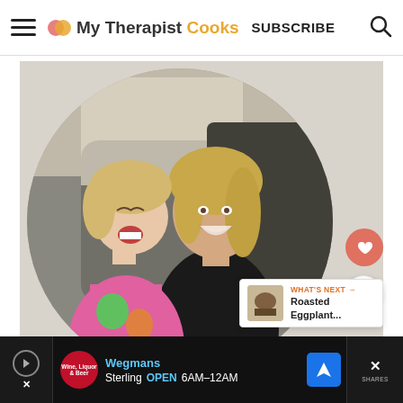My Therapist Cooks | SUBSCRIBE
[Figure (photo): A smiling woman with blonde hair and a young laughing child sitting together, shown in a circular cropped photo on a light gray background]
WHAT'S NEXT → Roasted Eggplant...
[Figure (infographic): Advertisement banner for Wegmans – Wine, Liquor & Beer store in Sterling showing OPEN 6AM–12AM with navigation icon]